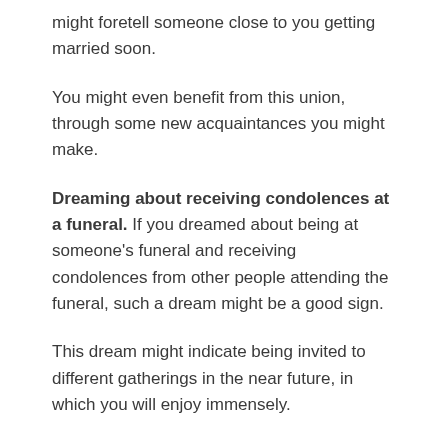might foretell someone close to you getting married soon.
You might even benefit from this union, through some new acquaintances you might make.
Dreaming about receiving condolences at a funeral. If you dreamed about being at someone’s funeral and receiving condolences from other people attending the funeral, such a dream might be a good sign.
This dream might indicate being invited to different gatherings in the near future, in which you will enjoy immensely.